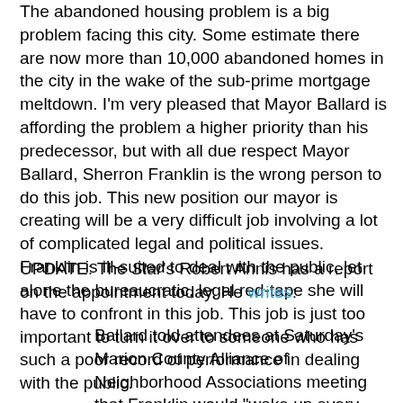The abandoned housing problem is a big problem facing this city. Some estimate there are now more than 10,000 abandoned homes in the city in the wake of the sub-prime mortgage meltdown. I'm very pleased that Mayor Ballard is affording the problem a higher priority than his predecessor, but with all due respect Mayor Ballard, Sherron Franklin is the wrong person to do this job. This new position our mayor is creating will be a very difficult job involving a lot of complicated legal and political issues. Franklin is ill-suited to deal with the public, let alone the bureaucratic, legal red-tape she will have to confront in this job. This job is just too important to turn it over to someone who has such a poor record of performance in dealing with the public.
UPDATE: The Star's Robert Annis has a report on the appointment today. He writes:
Ballard told attendees at Saturday's Marion County Alliance of Neighborhood Associations meeting that Franklin would "wake up every day thinking about abandoned homes" . . .